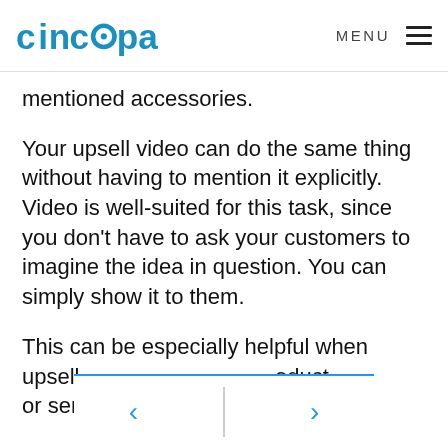cincopa  MENU
mentioned accessories.
Your upsell video can do the same thing without having to mention it explicitly. Video is well-suited for this task, since you don’t have to ask your customers to imagine the idea in question. You can simply show it to them.
This can be especially helpful when upsell [product] or ser[vice] not